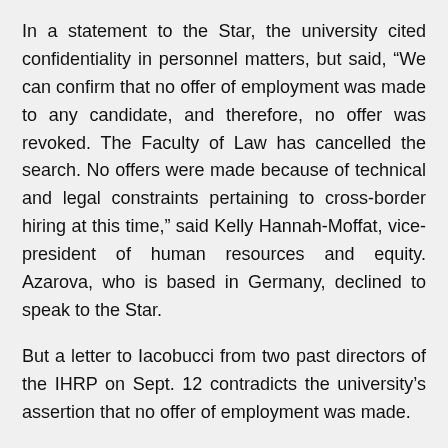In a statement to the Star, the university cited confidentiality in personnel matters, but said, “We can confirm that no offer of employment was made to any candidate, and therefore, no offer was revoked. The Faculty of Law has cancelled the search. No offers were made because of technical and legal constraints pertaining to cross-border hiring at this time,” said Kelly Hannah-Moffat, vice-president of human resources and equity. Azarova, who is based in Germany, declined to speak to the Star.
But a letter to Iacobucci from two past directors of the IHRP on Sept. 12 contradicts the university’s assertion that no offer of employment was made.
“Azarova — the hiring committee’s top candidate — accepted the faculty’s offer in mid-August,” wrote Carmen Cheung and the most recent director, Samer Muscati. “The Faculty of Law put Dr. Azarova in touch with